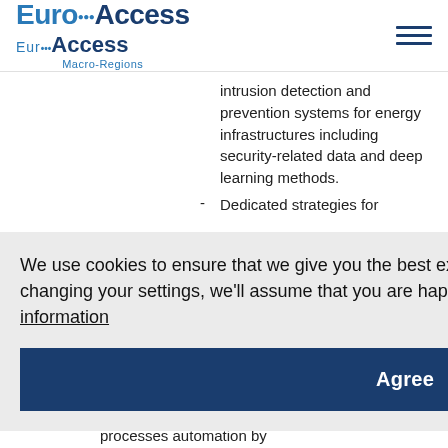EuroAccess Macro-Regions
intrusion detection and prevention systems for energy infrastructures including security-related data and deep learning methods.
Dedicated strategies for ... ence ... ling
We use cookies to ensure that we give you the best experience on our website. If you continue without changing your settings, we'll assume that you are happy to receive all cookies on the website.  More information
Agree
... on of ... tion
processes automation by